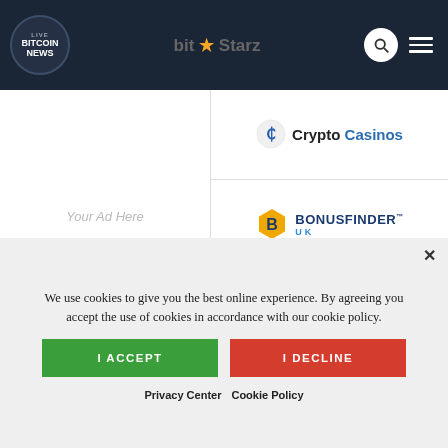LIVE BITCOIN NEWS
[Figure (logo): Live Bitcoin News logo - circular dark logo with LIVE text and BITCOIN NEWS in white bold text]
[Figure (logo): bit Starz advertisement logo in header]
Your Ad Here
[Figure (logo): Crypto Casinos logo with circular C icon]
[Figure (logo): BonusFinder UK logo with hexagon B icon]
Your Ad Here
We use cookies to give you the best online experience. By agreeing you accept the use of cookies in accordance with our cookie policy.
I ACCEPT
I DECLINE
Privacy Center  Cookie Policy